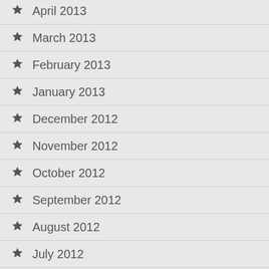April 2013
March 2013
February 2013
January 2013
December 2012
November 2012
October 2012
September 2012
August 2012
July 2012
June 2012
May 2012